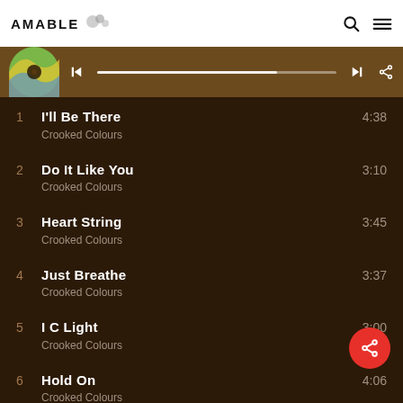AMABLE
[Figure (screenshot): Music player interface with album art thumbnail, progress bar, skip and share controls on brown background]
1  I'll Be There  Crooked Colours  4:38
2  Do It Like You  Crooked Colours  3:10
3  Heart String  Crooked Colours  3:45
4  Just Breathe  Crooked Colours  3:37
5  I C Light  Crooked Colours  3:00
6  Hold On  Crooked Colours  4:06
7  Langata  Crooked Colours  3:32
8  Minor Bull... (partial)  3:46